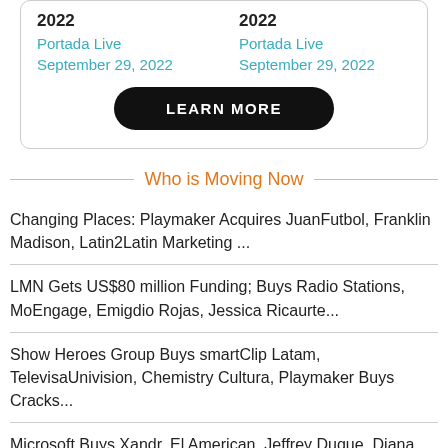2022
Portada Live
September 29, 2022
2022
Portada Live
September 29, 2022
LEARN MORE
Who is Moving Now
Changing Places: Playmaker Acquires JuanFutbol, Franklin Madison, Latin2Latin Marketing ...
LMN Gets US$80 million Funding; Buys Radio Stations, MoEngage, Emigdio Rojas, Jessica Ricaurte...
Show Heroes Group Buys smartClip Latam, TelevisaUnivision, Chemistry Cultura, Playmaker Buys Cracks...
Microsoft Buys Xandr, El American, Jeffrey Duque, Diana